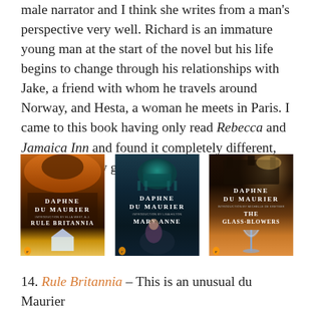male narrator and I think she writes from a man's perspective very well. Richard is an immature young man at the start of the novel but his life begins to change through his relationships with Jake, a friend with whom he travels around Norway, and Hesta, a woman he meets in Paris. I came to this book having only read Rebecca and Jamaica Inn and found it completely different, but surprisingly good.
[Figure (photo): Three Daphne du Maurier book covers side by side: 'Rule Britannia', 'Mary Anne', and 'The Glass-Blowers', all published by Penguin with dark atmospheric cover art.]
14. Rule Britannia – This is an unusual du Maurier